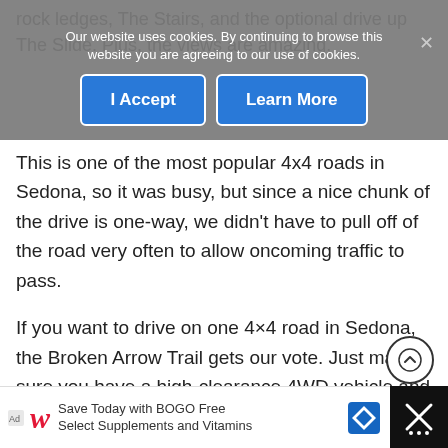rock ledges, The Stairs, and the optional drive up The Slide. Plus, the views are amazing.
[Figure (screenshot): Cookie consent banner overlay with 'I Accept' and 'Learn More' blue buttons and close X, with text: Our website uses cookies. By continuing to browse this website you are agreeing to our use of cookies.]
This is one of the most popular 4x4 roads in Sedona, so it was busy, but since a nice chunk of the drive is one-way, we didn't have to pull off of the road very often to allow oncoming traffic to pass.
If you want to drive on one 4×4 road in Sedona, the Broken Arrow Trail gets our vote. Just make sure you have a high-clearance 4WD vehicle and prior experience.
[Figure (screenshot): Walgreens advertisement bar at the bottom: Save Today with BOGO Free Select Supplements and Vitamins]